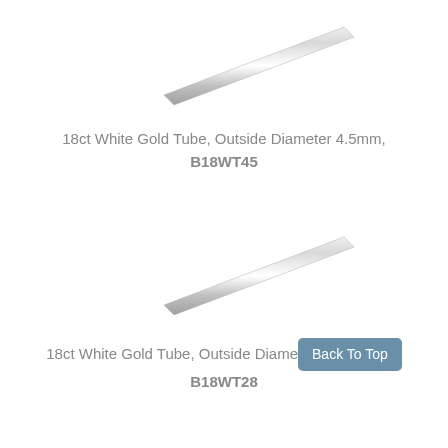[Figure (photo): A thin metallic white gold tube shown diagonally, shiny silver appearance, top product image]
18ct White Gold Tube, Outside Diameter 4.5mm, B18WT45
[Figure (photo): A thin metallic white gold tube shown diagonally, shiny silver appearance, bottom product image]
18ct White Gold Tube, Outside Diameter 2.8mm, B18WT28